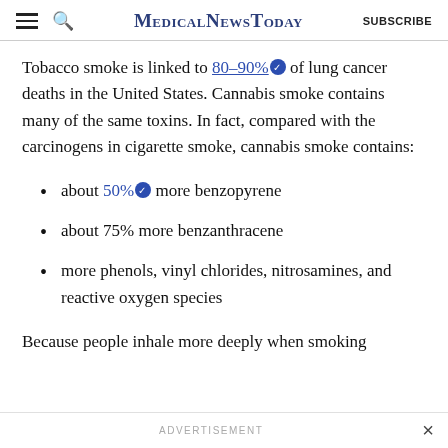MedicalNewsToday | SUBSCRIBE
Tobacco smoke is linked to 80–90% of lung cancer deaths in the United States. Cannabis smoke contains many of the same toxins. In fact, compared with the carcinogens in cigarette smoke, cannabis smoke contains:
about 50% more benzopyrene
about 75% more benzanthracene
more phenols, vinyl chlorides, nitrosamines, and reactive oxygen species
Because people inhale more deeply when smoking
ADVERTISEMENT